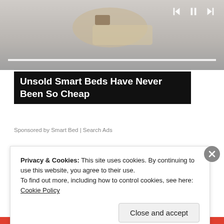[Figure (photo): Top portion of a smart bed product image with media player controls and progress bar overlay on gray background]
Unsold Smart Beds Have Never Been So Cheap
Sponsored by Smart Bed | Search Ads
Share this:
Email
Print
WhatsApp
Pocket
Facebook
More
Privacy & Cookies: This site uses cookies. By continuing to use this website, you agree to their use.
To find out more, including how to control cookies, see here: Cookie Policy
Close and accept